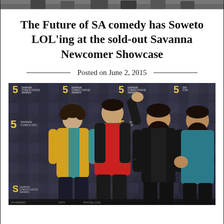[Figure (photo): Partial photo visible at top of page showing group of people]
The Future of SA comedy has Soweto LOL'ing at the sold-out Savanna Newcomer Showcase
Posted on June 2, 2015
[Figure (photo): Four men posing in front of a Savanna Comics Choice Awards backdrop/step-and-repeat banner. One man wears a yellow/teal jacket, one wears a red raglan t-shirt with arm raised, one wears an all-black outfit with beard, one wears a teal/blue top.]